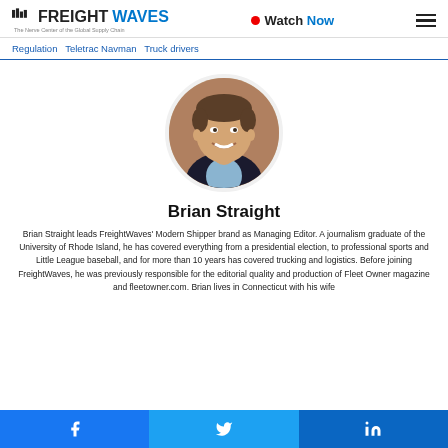FREIGHTWAVES – The Nerve Center of the Global Supply Chain | Watch Now | Menu
Regulation Teletrac Navman Truck drivers
[Figure (photo): Circular headshot of Brian Straight, a middle-aged man wearing a dark blazer and light blue shirt, smiling, with a wooden background.]
Brian Straight
Brian Straight leads FreightWaves' Modern Shipper brand as Managing Editor. A journalism graduate of the University of Rhode Island, he has covered everything from a presidential election, to professional sports and Little League baseball, and for more than 10 years has covered trucking and logistics. Before joining FreightWaves, he was previously responsible for the editorial quality and production of Fleet Owner magazine and fleetowner.com. Brian lives in Connecticut with his wife
Facebook | Twitter | LinkedIn